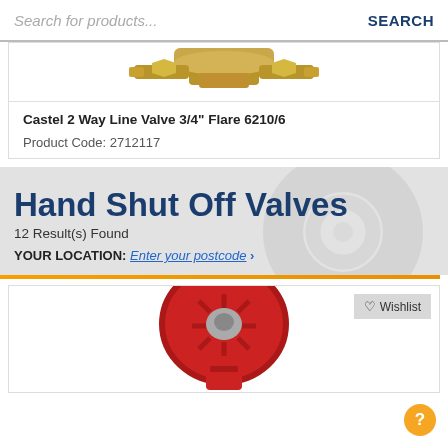Search for products...  SEARCH
[Figure (photo): Partial view of a brass line valve (top portion only visible, cropped)]
Castel 2 Way Line Valve 3/4" Flare 6210/6
Product Code: 2712117
Hand Shut Off Valves
12 Result(s) Found
YOUR LOCATION: Enter your postcode ›
[Figure (photo): Red hand shut off valve with circular red handle/wheel viewed from above, product listing image]
♡ Wishlist